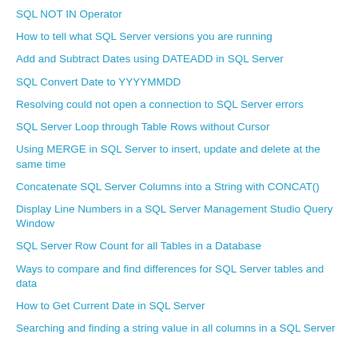SQL NOT IN Operator
How to tell what SQL Server versions you are running
Add and Subtract Dates using DATEADD in SQL Server
SQL Convert Date to YYYYMMDD
Resolving could not open a connection to SQL Server errors
SQL Server Loop through Table Rows without Cursor
Using MERGE in SQL Server to insert, update and delete at the same time
Concatenate SQL Server Columns into a String with CONCAT()
Display Line Numbers in a SQL Server Management Studio Query Window
SQL Server Row Count for all Tables in a Database
Ways to compare and find differences for SQL Server tables and data
How to Get Current Date in SQL Server
Searching and finding a string value in all columns in a SQL Server